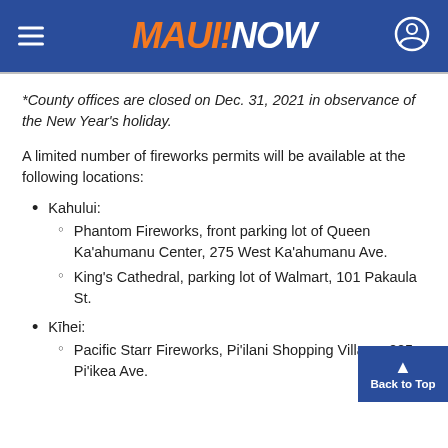MAUI NOW
*County offices are closed on Dec. 31, 2021 in observance of the New Year's holiday.
A limited number of fireworks permits will be available at the following locations:
Kahului:
Phantom Fireworks, front parking lot of Queen Ka'ahumanu Center, 275 West Ka'ahumanu Ave.
King's Cathedral, parking lot of Walmart, 101 Pakaula St.
Kīhei:
Pacific Starr Fireworks, Pi'ilani Sho... Village, 225 Pi'ikea Ave.